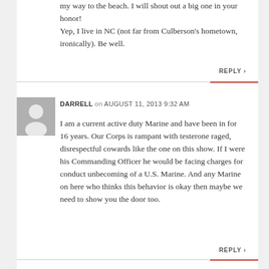drive through Camp Lejeune or Cherry Point on my way to the beach. I will shout out a big one in your honor!
Yep, I live in NC (not far from Culberson's hometown, ironically). Be well.
REPLY
DARRELL on AUGUST 11, 2013 9:32 AM
I am a current active duty Marine and have been in for 16 years. Our Corps is rampant with testerone raged, disrespectful cowards like the one on this show. If I were his Commanding Officer he would be facing charges for conduct unbecoming of a U.S. Marine. And any Marine on here who thinks this behavior is okay then maybe we need to show you the door too.
REPLY